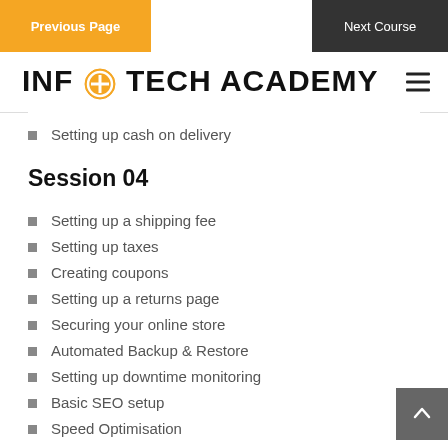Previous Page
Next Course
INFOTECH ACADEMY
Setting up cash on delivery
Session 04
Setting up a shipping fee
Setting up taxes
Creating coupons
Setting up a returns page
Securing your online store
Automated Backup & Restore
Setting up downtime monitoring
Basic SEO setup
Speed Optimisation
Setting up a business email